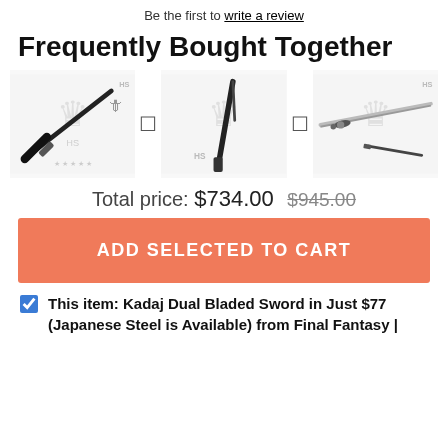Be the first to write a review
Frequently Bought Together
[Figure (photo): Three product images of swords/weapons shown side by side with plus icons between them, watermarked with HS logo]
Total price: $734.00  $945.00 (strikethrough)
ADD SELECTED TO CART
This item: Kadaj Dual Bladed Sword in Just $77 (Japanese Steel is Available) from Final Fantasy |